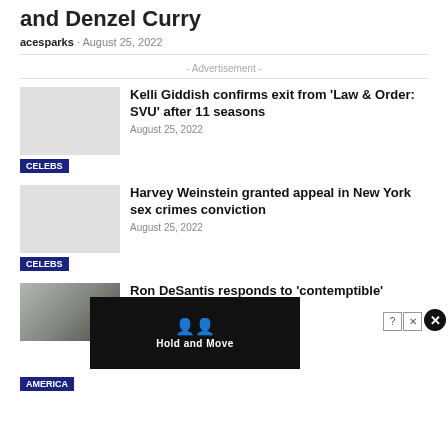and Denzel Curry
acesparks · August 25, 2022
- Advertisement -
Kelli Giddish confirms exit from 'Law & Order: SVU' after 11 seasons
August 25, 2022
CELEBS
Harvey Weinstein granted appeal in New York sex crimes conviction
August 25, 2022
CELEBS
Ron DeSantis responds to 'contemptible' Charlie Crist's claim h…
AMERICA